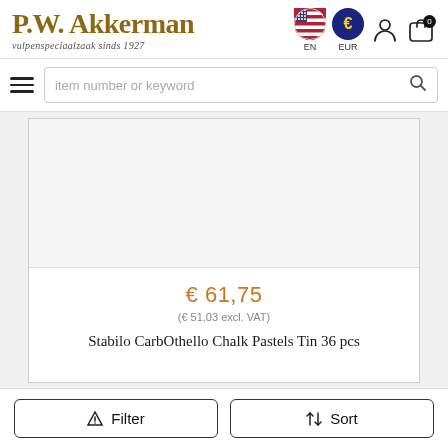[Figure (logo): P.W. Akkerman logo with tagline 'vulpenspeciaalzaak sinds 1927']
EN
EUR
item number or keyword
[Figure (photo): Product image area (blank/white)]
€ 61,75
(€ 51,03 excl. VAT)
Stabilo CarbOthello Chalk Pastels Tin 36 pcs
Filter
Sort